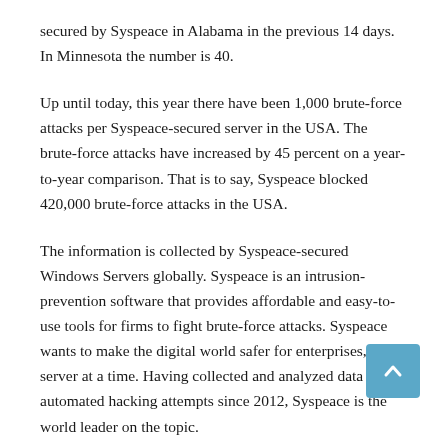secured by Syspeace in Alabama in the previous 14 days. In Minnesota the number is 40.
Up until today, this year there have been 1,000 brute-force attacks per Syspeace-secured server in the USA. The brute-force attacks have increased by 45 percent on a year-to-year comparison. That is to say, Syspeace blocked 420,000 brute-force attacks in the USA.
The information is collected by Syspeace-secured Windows Servers globally. Syspeace is an intrusion-prevention software that provides affordable and easy-to-use tools for firms to fight brute-force attacks. Syspeace wants to make the digital world safer for enterprises, one server at a time. Having collected and analyzed data on automated hacking attempts since 2012, Syspeace is the world leader on the topic.
During the automated hacking attempt, an attacker submits many